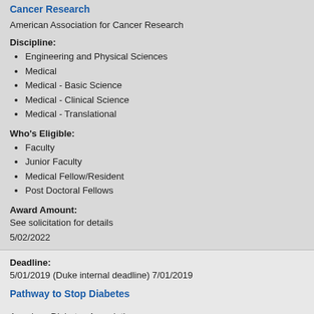Cancer Research
American Association for Cancer Research
Discipline:
Engineering and Physical Sciences
Medical
Medical - Basic Science
Medical - Clinical Science
Medical - Translational
Who's Eligible:
Faculty
Junior Faculty
Medical Fellow/Resident
Post Doctoral Fellows
Award Amount:
See solicitation for details
5/02/2022
Deadline:
5/01/2019 (Duke internal deadline) 7/01/2019
Pathway to Stop Diabetes
American Diabetes Association
Discipline: